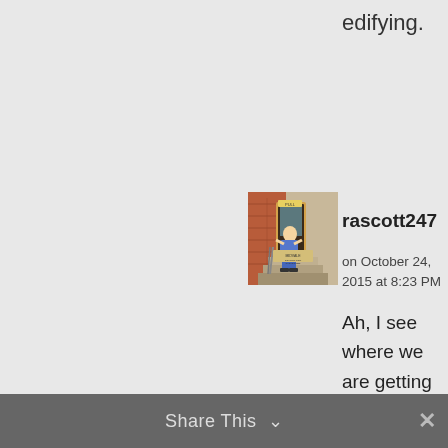edifying.
[Figure (illustration): Cartoon image showing a person pushing against a door that says 'Pull' at the top of outdoor steps, with a sign reading 'Midvale School for the Gifted']
rascott247
on October 24, 2015 at 8:23 PM
Ah, I see where we are getting our lines crossed. You see a distinction in K of G vs. K of H that I
Share This